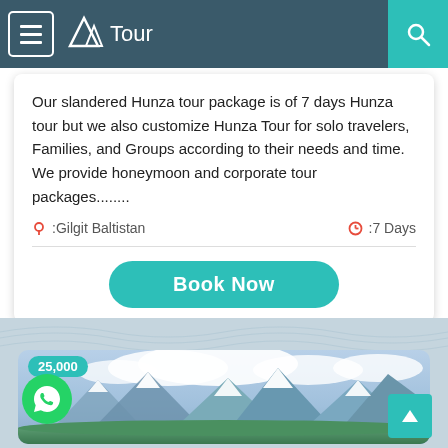Hunza Tour
Our slandered Hunza tour package is of 7 days Hunza tour but we also customize Hunza Tour for solo travelers, Families, and Groups according to their needs and time. We provide honeymoon and corporate tour packages........
:Gilgit Baltistan   :7 Days
Book Now
[Figure (photo): Mountain landscape with snow-capped peaks, green valley, and cloudy sky. Price badge showing 25,000 visible in top left corner.]